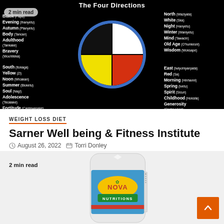[Figure (infographic): The Four Directions medicine wheel diagram on black background. Circle divided into four quadrants: black (top-left), white (top-right), yellow (bottom-left), red (bottom-right), with blue border. Left side labels: Black (Papa), Evening (Ihanyetu), Autumn (Ptanyetu), Body (Tancan), Adulthood (Tankake), Bravery (Woohiteka), South (Itokaga), Yellow (Zi), Noon (Wicakan), Summer (Bloketu), Soul (Nagi), Adolescence (Tecalake), Fortitude (Cantewasake). Right side labels: North (Waziyata), White (Ska), Night (Hanyetu), Winter (Waniyetu), Mind (Tawacin), Old Age (O'hunkesni), Wisdom (Woksape), East (Iwiyohiyanpata), Red (Sa), Morning (Hinhanni), Spring (Ivetu), Spirit (Sicun), Childhood (Hoksila), Generosity (Canteyukan).]
2 min read
WEIGHT LOSS DIET
Sarner Well being & Fitness Institute
August 26, 2022   Torri Donley
[Figure (photo): Nova Nutritions supplement bottle, partially visible, with yellow and green logo label. Text reads NOVA NUTRITIONS.]
2 min read